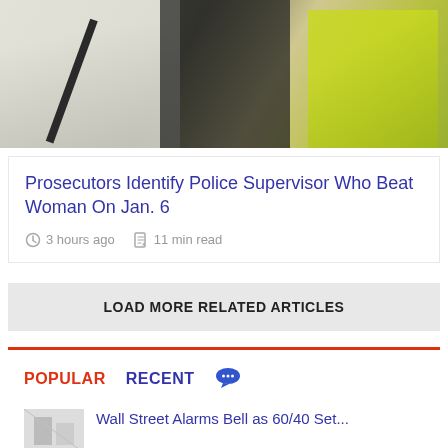[Figure (photo): News article photo showing people, one in white shirt with a dark strap visible, another in a yellow-green vest, with dark background]
Prosecutors Identify Police Supervisor Who Beat Woman On Jan. 6
3 hours ago   11 min read
LOAD MORE RELATED ARTICLES
POPULAR   RECENT
Wall Street Alarms Bell as 60/40 Set...